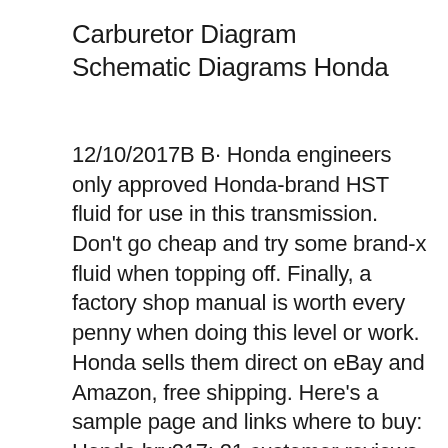Carburetor Diagram Schematic Diagrams Honda
12/10/2017B B· Honda engineers only approved Honda-brand HST fluid for use in this transmission. Don't go cheap and try some brand-x fluid when topping off. Finally, a factory shop manual is worth every penny when doing this level or work. Honda sells them direct on eBay and Amazon, free shipping. Here's a sample page and links where to buy: Honda hrx217: 21 customer reviews on australia's largest opinion site productreview.com.au. 4.2 out of 5 stars for honda hrx217 in push mowers.. Honda hrx217 parts manual . 40 best honda hrx217 parts manual . amazon